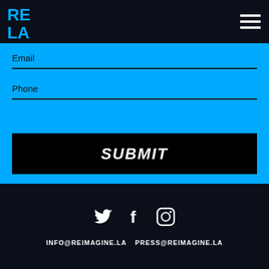[Figure (logo): RE LA logo in cyan/blue on dark navy header background]
Email
Phone
SUBMIT
[Figure (other): Social media icons: Twitter bird, Facebook f, Instagram camera circle]
INFO@REIMAGINE.LA   PRESS@REIMAGINE.LA